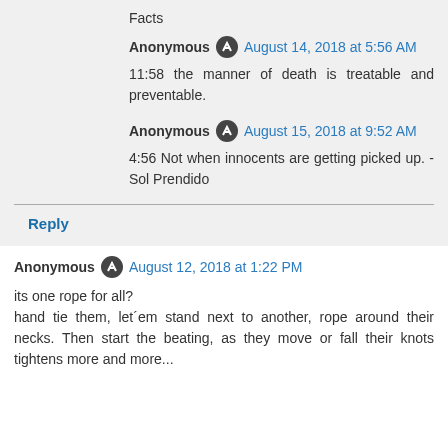Facts
Anonymous · August 14, 2018 at 5:56 AM
11:58 the manner of death is treatable and preventable.
Anonymous · August 15, 2018 at 9:52 AM
4:56 Not when innocents are getting picked up. - Sol Prendido
Reply
Anonymous · August 12, 2018 at 1:22 PM
its one rope for all?
hand tie them, let´em stand next to another, rope around their necks. Then start the beating, as they move or fall their knots tightens more and more...